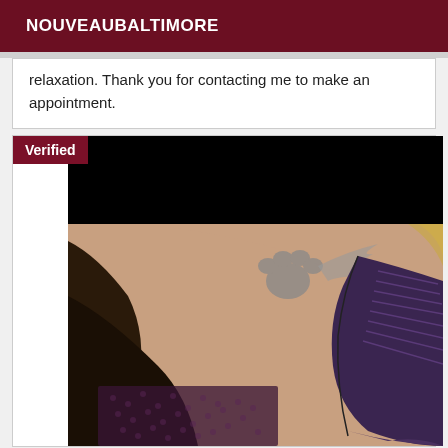NOUVEAUBALTIMORE
relaxation. Thank you for contacting me to make an appointment.
[Figure (photo): Photo of a person with blonde hair and tattoos wearing a dark corset/lace top, with a paw print tattoo visible on the shoulder. Upper portion of the face is redacted with a black rectangle. A 'Verified' badge is overlaid in the top-left corner.]